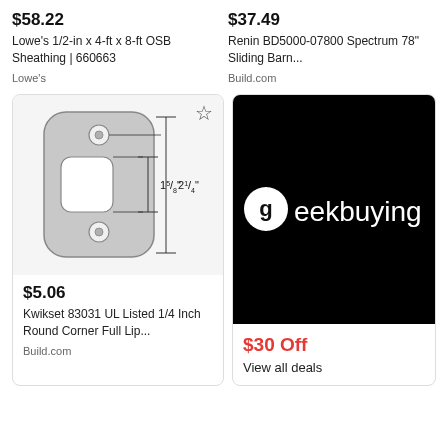$58.22
Lowe's 1/2-in x 4-ft x 8-ft OSB Sheathing | 660663
Lowe's
$37.49
Renin BD5000-07800 Spectrum 78" Sliding Barn...
Build.com
[Figure (illustration): Technical line drawing of a door strike plate (Kwikset 83031) showing dimensions: 2-1/4" height and 1-5/8" width, with two mounting holes and a rectangular cutout in center. Star/favorite icon in top right corner.]
$5.06
Kwikset 83031 UL Listed 1/4 Inch Round Corner Full Lip...
Build.com
[Figure (logo): Geekbuying logo on black background: circular 'g' icon followed by 'eekbuying' text in white]
$30 Off
View all deals